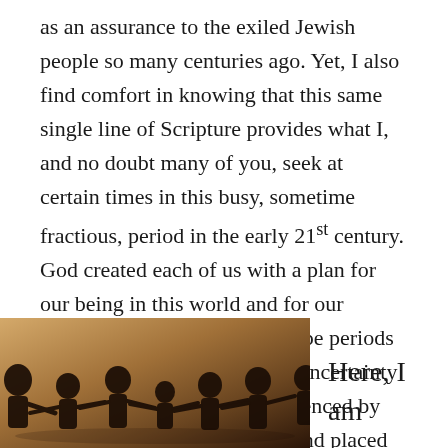as an assurance to the exiled Jewish people so many centuries ago. Yet, I also find comfort in knowing that this same single line of Scripture provides what I, and no doubt many of you, seek at certain times in this busy, sometime fractious, period in the early 21st century. God created each of us with a plan for our being in this world and for our welfare. And while there will be periods of both personal and societal uncertainty in our lifetimes, just as experienced by those exiled from Jerusalem and placed in bondage in Babylon in Jeremiah's time, there remains today God's promise of a future with hope.
[Figure (photo): Sepia-toned photograph of silhouetted human figures holding hands in a circle, reminiscent of a paper chain or sculpture, against a warm golden background suggesting community and unity.]
Here, I am